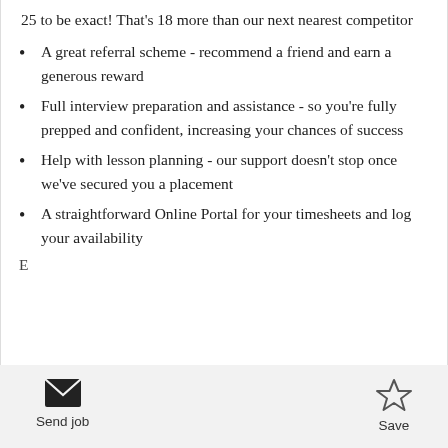25 to be exact! That's 18 more than our next nearest competitor
A great referral scheme - recommend a friend and earn a generous reward
Full interview preparation and assistance - so you're fully prepped and confident, increasing your chances of success
Help with lesson planning - our support doesn't stop once we've secured you a placement
A straightforward Online Portal for your timesheets and log your availability
E...
Send job   Save